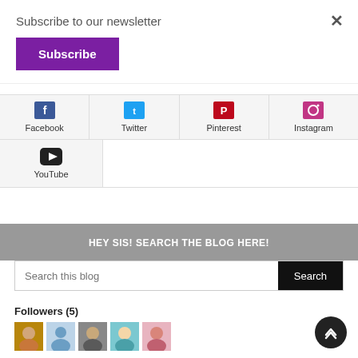Subscribe to our newsletter
Subscribe
×
[Figure (screenshot): Social media icons grid: Facebook, Twitter, Pinterest, Instagram (top row), YouTube (bottom row)]
HEY SIS! SEARCH THE BLOG HERE!
Search this blog
Search
Followers (5)
[Figure (photo): Row of 5 follower avatar images]